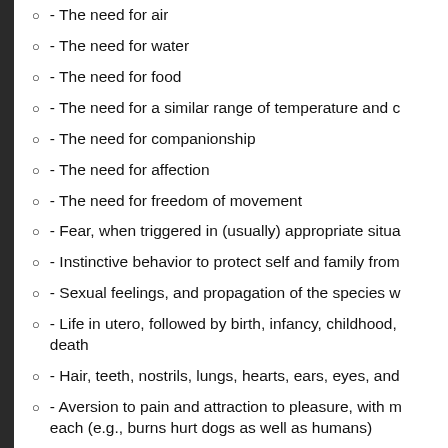- The need for air
- The need for water
- The need for food
- The need for a similar range of temperature and c
- The need for companionship
- The need for affection
- The need for freedom of movement
- Fear, when triggered in (usually) appropriate situa
- Instinctive behavior to protect self and family from
- Sexual feelings, and propagation of the species w
- Life in utero, followed by birth, infancy, childhood, death
- Hair, teeth, nostrils, lungs, hearts, ears, eyes, and
- Aversion to pain and attraction to pleasure, with m each (e.g., burns hurt dogs as well as humans)